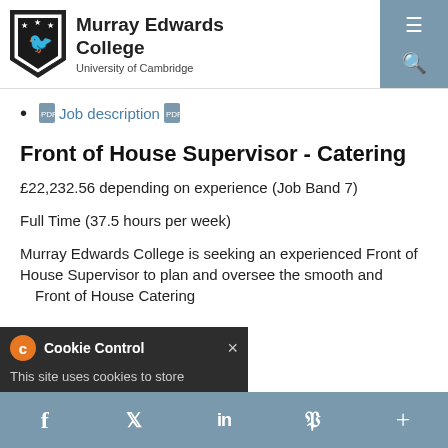Murray Edwards College University of Cambridge
Job description
Front of House Supervisor - Catering
£22,232.56 depending on experience (Job Band 7)
Full Time (37.5 hours per week)
Murray Edwards College is seeking an experienced Front of House Supervisor to plan and oversee the smooth and ... Front of House Catering
[Figure (other): Cookie Control banner: orange C icon, 'Cookie Control' label, X close button, 'This site uses cookies to store' message]
f  Twitter  in  Pinterest  +